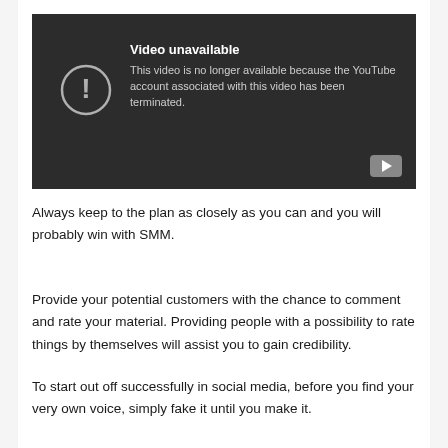[Figure (screenshot): YouTube 'Video unavailable' error screen on dark background. Shows exclamation icon in circle on left, title 'Video unavailable', message 'This video is no longer available because the YouTube account associated with this video has been terminated.' YouTube play button icon in bottom-right corner.]
Always keep to the plan as closely as you can and you will probably win with SMM.
Provide your potential customers with the chance to comment and rate your material. Providing people with a possibility to rate things by themselves will assist you to gain credibility.
To start out off successfully in social media, before you find your very own voice, simply fake it until you make it.